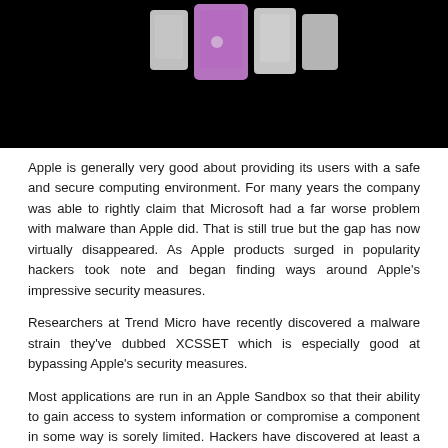[Figure (photo): Partial view of Apple devices against a black background, showing product hardware in white, gray, and purple colors.]
Apple is generally very good about providing its users with a safe and secure computing environment. For many years the company was able to rightly claim that Microsoft had a far worse problem with malware than Apple did. That is still true but the gap has now virtually disappeared. As Apple products surged in popularity hackers took note and began finding ways around Apple's impressive security measures.
Researchers at Trend Micro have recently discovered a malware strain they've dubbed XCSSET which is especially good at bypassing Apple's security measures.
Most applications are run in an Apple Sandbox so that their ability to gain access to system information or compromise a component in some way is sorely limited. Hackers have discovered at least a partial workaround that gives them access to some of a user's sensitive data where certain apps are concerned.